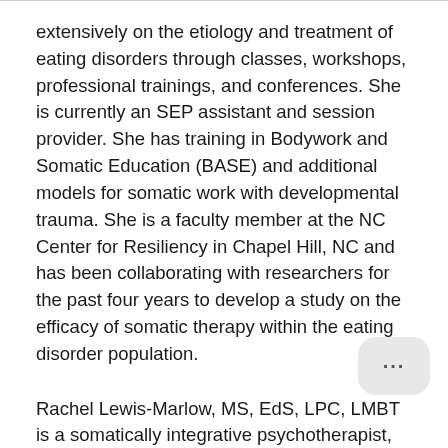extensively on the etiology and treatment of eating disorders through classes, workshops, professional trainings, and conferences. She is currently an SEP assistant and session provider. She has training in Bodywork and Somatic Education (BASE) and additional models for somatic work with developmental trauma. She is a faculty member at the NC Center for Resiliency in Chapel Hill, NC and has been collaborating with researchers for the past four years to develop a study on the efficacy of somatic therapy within the eating disorder population.
Rachel Lewis-Marlow, MS, EdS, LPC, LMBT is a somatically integrative psychotherapist, dually licensed in counseling and therapeutic massage and bodywork. She is a Certified Advanced Practitioner in Sensorimotor Psychotherapy and has advanced training and 25 + years of experience in diverse somatic therapies including